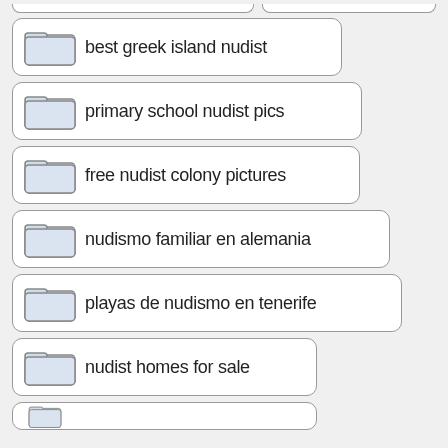best greek island nudist
primary school nudist pics
free nudist colony pictures
nudismo familiar en alemania
playas de nudismo en tenerife
nudist homes for sale